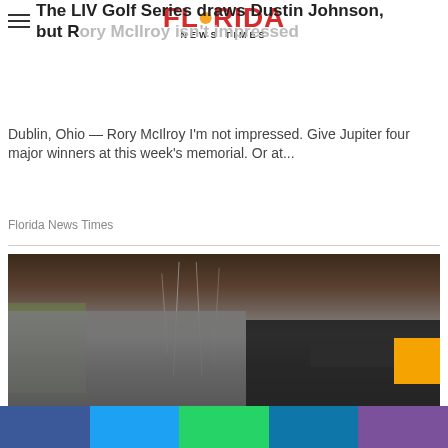Florida News Times
The LIV Golf Series draws Dustin Johnson, but Rory McIlroy isn't impressed
Dublin, Ohio — Rory McIlroy I'm not impressed. Give Jupiter four major winners at this week's memorial. Or at...
Florida News Times
[Figure (photo): Crawl space under a house showing concrete foundation walls, exposed wiring, pipes, and dark interior]
The Prices For Crawl Space Repair In